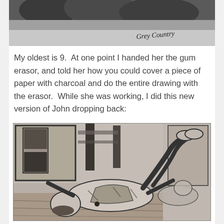[Figure (photo): Partial black and white photo at the top of the page showing a snowy or wintry outdoor scene. Handwritten text 'Grey Country' visible in the lower right of the photo.]
My oldest is 9.  At one point I handed her the gum erasor, and told her how you could cover a piece of paper with charcoal and do the entire drawing with the erasor.  While she was working, I did this new version of John dropping back:
[Figure (photo): A charcoal drawing showing a figure (John) dropping back, rendered with erasor technique on charcoal-covered paper. The figure appears to be leaning/falling backward in a room setting.]